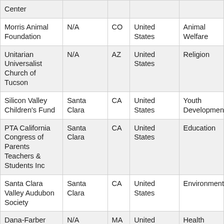| Organization | City | State | Country | Category |
| --- | --- | --- | --- | --- |
| Center |  |  |  |  |
| Morris Animal Foundation | N/A | CO | United States | Animal Welfare |
| Unitarian Universalist Church of Tucson | N/A | AZ | United States | Religion |
| Silicon Valley Children's Fund | Santa Clara | CA | United States | Youth Development |
| PTA California Congress of Parents Teachers & Students Inc | Santa Clara | CA | United States | Education |
| Santa Clara Valley Audubon Society | Santa Clara | CA | United States | Environment |
| Dana-Farber Cancer Institute | N/A | MA | United States | Health |